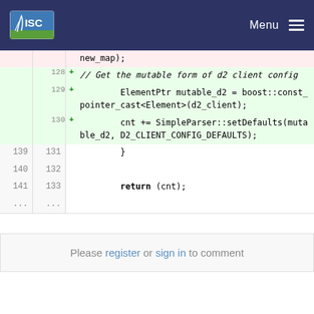ISC | Menu
[Figure (screenshot): Code diff view showing lines 128-133 and context lines 139-141. Lines 128-130 are additions (green background) with + sign. Lines 129-130 show ElementPtr mutable_d2 = boost::const_pointer_cast<Element>(d2_client); and cnt += SimpleParser::setDefaults(mutable_d2, D2_CLIENT_CONFIG_DEFAULTS);. Lines 139-141 and 131-133 show context with closing brace and return (cnt);]
Please register or sign in to comment